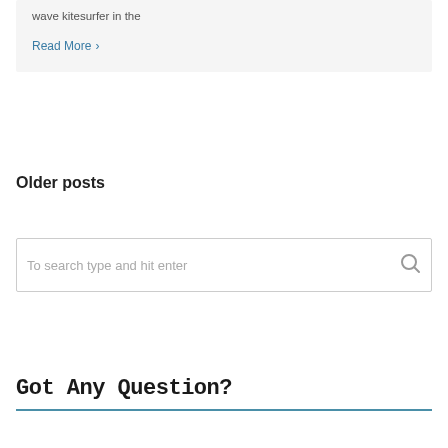wave kitesurfer in the
Read More ›
Older posts
To search type and hit enter
Got Any Question?